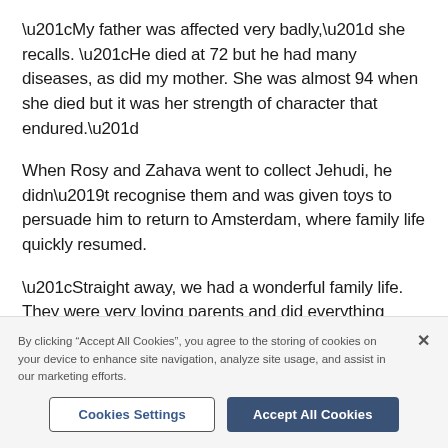“My father was affected very badly,” she recalls. “He died at 72 but he had many diseases, as did my mother. She was almost 94 when she died but it was her strength of character that endured.”
When Rosy and Zahava went to collect Jehudi, he didn’t recognise them and was given toys to persuade him to return to Amsterdam, where family life quickly resumed.
“Straight away, we had a wonderful family life. They were very loving parents and did everything possible to
By clicking “Accept All Cookies”, you agree to the storing of cookies on your device to enhance site navigation, analyze site usage, and assist in our marketing efforts.
Cookies Settings
Accept All Cookies